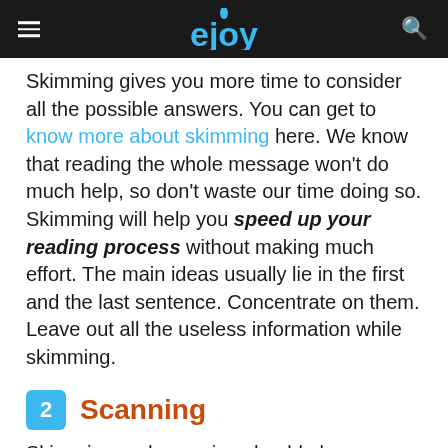ejoy
Skimming gives you more time to consider all the possible answers. You can get to know more about skimming here. We know that reading the whole message won't do much help, so don't waste our time doing so. Skimming will help you speed up your reading process without making much effort. The main ideas usually lie in the first and the last sentence. Concentrate on them. Leave out all the useless information while skimming.
2 Scanning
Skimming and scanning should always come together to bring more benefits. You can read more about scanning skills here. Scanning, while reading...